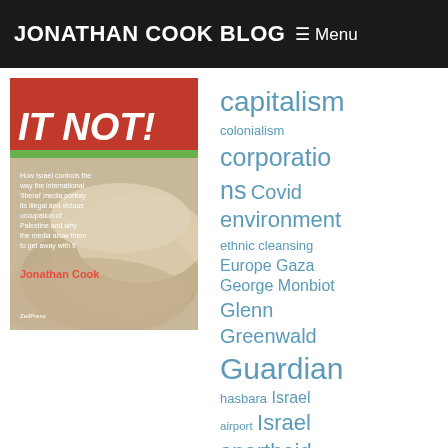JONATHAN COOK BLOG ☰ Menu
[Figure (photo): Book cover of 'Israel: IT NOT!' by Jonathan Cook — How Israel controls the way the international 'liberal' media portray its illegal and vicious occupation of Palestine and why the media allow them to get away with it. Published by Zed Press. Book shown against a background of stacked newspapers.]
capitalism colonialism corporations Covid environment ethnic cleansing Europe Gaza George Monbiot Glenn Greenwald Guardian hasbara Israel airport Israel apartheid Israel army Israel